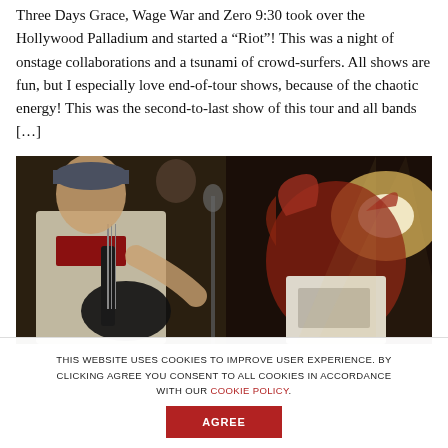Three Days Grace, Wage War and Zero 9:30 took over the Hollywood Palladium and started a “Riot”! This was a night of onstage collaborations and a tsunami of crowd-surfers. All shows are fun, but I especially love end-of-tour shows, because of the chaotic energy! This was the second-to-last show of this tour and all bands […]
[Figure (photo): Concert photo showing two musicians on stage. Left: guitarist in a grey t-shirt with red text playing a black electric guitar. Right: singer with wild reddish hair headbanging, wearing a white t-shirt, illuminated by stage lights.]
THIS WEBSITE USES COOKIES TO IMPROVE USER EXPERIENCE. BY CLICKING AGREE YOU CONSENT TO ALL COOKIES IN ACCORDANCE WITH OUR COOKIE POLICY.
AGREE